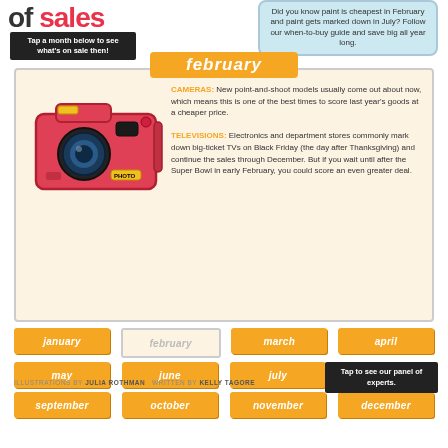of sales
Did you know paint is cheapest in February and paint gets marked down in July? Follow our when-to-buy guide and save big all year long.
Tap a month below to see what's on sale then!
february
[Figure (illustration): Red point-and-shoot digital camera illustration]
CAMERAS: New point-and-shoot models usually come out about now, which means this is one of the best times to score last year's goods at a cheaper price. TELEVISIONS: Electronics and department stores commonly mark down big-ticket TVs on Black Friday (the day after Thanksgiving) and continue the sales through December. But if you wait until after the Super Bowl in early February, you could score an even greater deal.
january
february
march
april
may
june
july
august
september
october
november
december
ILLUSTRATIONS BY JULIA ROTHMAN  WRITTEN BY KELLY TAGORE
Tap to see our panel of experts.